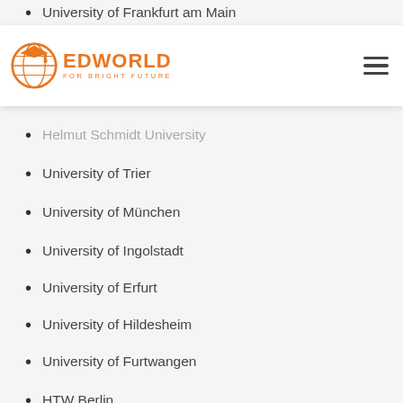University of Frankfurt am Main
Helmut Schmidt University
University of Trier
University of München
University of Ingolstadt
University of Erfurt
University of Hildesheim
University of Furtwangen
HTW Berlin
University of Darmstadt
University of Reutlingen
Technical University of Köln
University of Koblenz Landau
University of Bonn Rhein Sieg